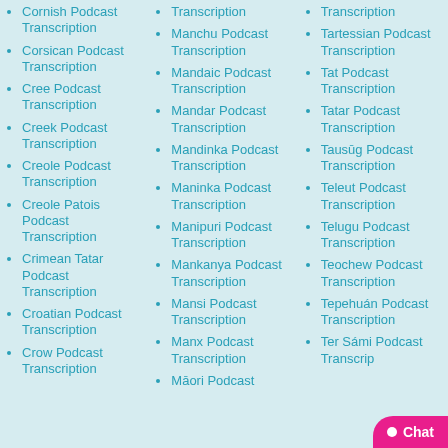Cornish Podcast Transcription
Corsican Podcast Transcription
Cree Podcast Transcription
Creek Podcast Transcription
Creole Podcast Transcription
Creole Patois Podcast Transcription
Crimean Tatar Podcast Transcription
Croatian Podcast Transcription
Crow Podcast Transcription
Transcription
Manchu Podcast Transcription
Mandaic Podcast Transcription
Mandar Podcast Transcription
Mandinka Podcast Transcription
Maninka Podcast Transcription
Manipuri Podcast Transcription
Mankanya Podcast Transcription
Mansi Podcast Transcription
Manx Podcast Transcription
Māori Podcast
Transcription
Tartessian Podcast Transcription
Tat Podcast Transcription
Tatar Podcast Transcription
Tausūg Podcast Transcription
Teleut Podcast Transcription
Telugu Podcast Transcription
Teochew Podcast Transcription
Tepehuán Podcast Transcription
Ter Sámi Podcast Transcription